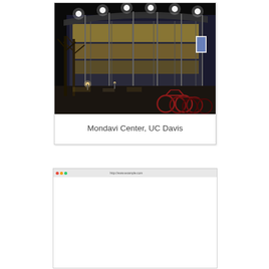[Figure (photo): Nighttime exterior photograph of the Mondavi Center at UC Davis. A modern glass and steel building is brightly illuminated with overhead lights. Bicycles are parked in the foreground, and bare trees are visible on the left side.]
Mondavi Center, UC Davis
[Figure (screenshot): A screenshot of a web browser window showing a mostly blank white page with a browser toolbar at the top.]